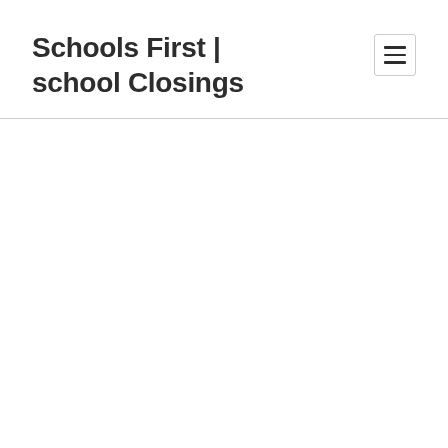Schools First | school Closings
[Figure (other): Hamburger menu button icon with three horizontal lines inside a bordered square box]